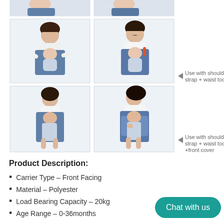[Figure (photo): Grid of 6 photos showing women carrying babies/toddlers in a blue baby carrier/hip seat. Top row: two partial photos visible at the top edge. Middle row: two photos of woman with baby in front-facing carrier. Bottom row: two photos of woman with toddler in carrier with front cover. Labels on right: 'Use with shoulder strap + waist tool' and 'Use with shoulder strap + waist tool +front cover'.]
Product Description:
Carrier Type – Front Facing
Material – Polyester
Load Bearing Capacity – 20kg
Age Range – 0-36months